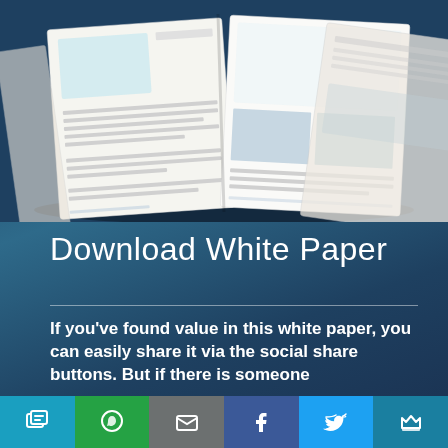[Figure (photo): Open white paper / book with multiple pages showing diagrams and text content, displayed against a dark blue background]
Download White Paper
If you've found value in this white paper, you can easily share it via the social share buttons. But if there is someone you'd like to share this with, here's f…
[Figure (infographic): Social share button bar at the bottom with icons: chat/clipboard, WhatsApp, email, Facebook, Twitter, and crown/bookmark. Colors: blue, green, gray, dark blue, light blue, teal.]